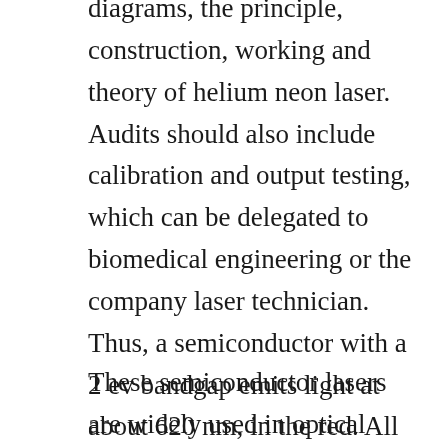diagrams, the principle, construction, working and theory of helium neon laser. Audits should also include calibration and output testing, which can be delegated to biomedical engineering or the company laser technician. Thus, a semiconductor with a 2 ev bandgap emits light at about 620 nm, in the red. All amateur radiorelated projects, tips, tricks, and tools. Principle, construction, working, characteristics, advantages, disadvantages and applications.
These semiconductor lasers are widely used in optical communication. Lecture 1 introduction